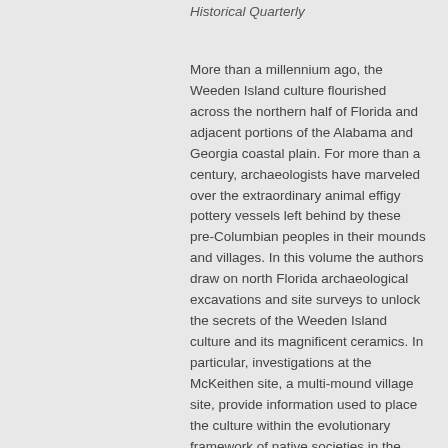Historical Quarterly
More than a millennium ago, the Weeden Island culture flourished across the northern half of Florida and adjacent portions of the Alabama and Georgia coastal plain. For more than a century, archaeologists have marveled over the extraordinary animal effigy pottery vessels left behind by these pre-Columbian peoples in their mounds and villages. In this volume the authors draw on north Florida archaeological excavations and site surveys to unlock the secrets of the Weeden Island culture and its magnificent ceramics. In particular, investigations at the McKeithen site, a multi-mound village site, provide information used to place the culture within the evolutionary framework of native societies in the southeastern United States. New radiocarbon dates from that site establish a firm chronological framework for Weeden Island developments.